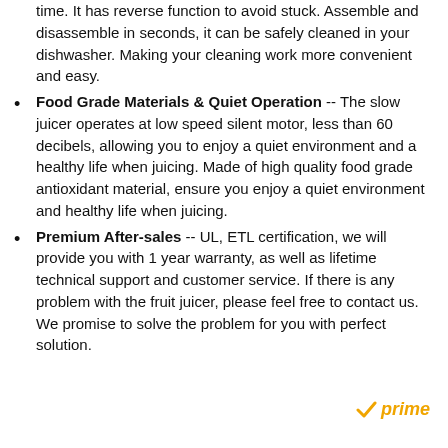time. It has reverse function to avoid stuck. Assemble and disassemble in seconds, it can be safely cleaned in your dishwasher. Making your cleaning work more convenient and easy.
Food Grade Materials & Quiet Operation -- The slow juicer operates at low speed silent motor, less than 60 decibels, allowing you to enjoy a quiet environment and a healthy life when juicing. Made of high quality food grade antioxidant material, ensure you enjoy a quiet environment and healthy life when juicing.
Premium After-sales -- UL, ETL certification, we will provide you with 1 year warranty, as well as lifetime technical support and customer service. If there is any problem with the fruit juicer, please feel free to contact us. We promise to solve the problem for you with perfect solution.
[Figure (logo): Amazon Prime logo with orange checkmark and italic Prime text]